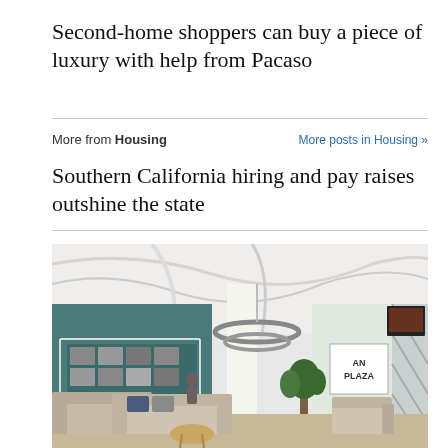Second-home shoppers can buy a piece of luxury with help from Pacaso
More from Housing
More posts in Housing »
Southern California hiring and pay raises outshine the state
[Figure (photo): Interior photo of a modern open-plan office or co-working space with a lounge area. Features include ring-shaped pendant lights, a teal/green accent wall with framed photos, comfortable beige sofas and armchairs, a small round coffee table, potted plants, and signage reading 'AN PLAZA'. The ceiling has exposed ducts and linear lighting.]